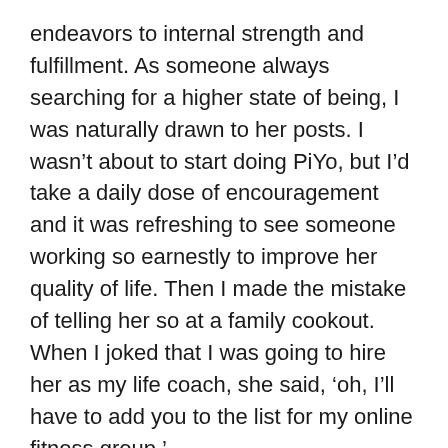endeavors to internal strength and fulfillment. As someone always searching for a higher state of being, I was naturally drawn to her posts. I wasn't about to start doing PiYo, but I'd take a daily dose of encouragement and it was refreshing to see someone working so earnestly to improve her quality of life. Then I made the mistake of telling her so at a family cookout. When I joked that I was going to hire her as my life coach, she said, 'oh, I'll have to add you to the list for my online fitness group.'
Me and my big fat mouth.
Now, my husband's cousin was very clear that she wasn't out for world domination, but a renewed level of fitness after two children and a hectic lifestyle. However, her level of 'out-of-shape' as a former alternate on the Olympic ski team was probably equal to mine at its best.